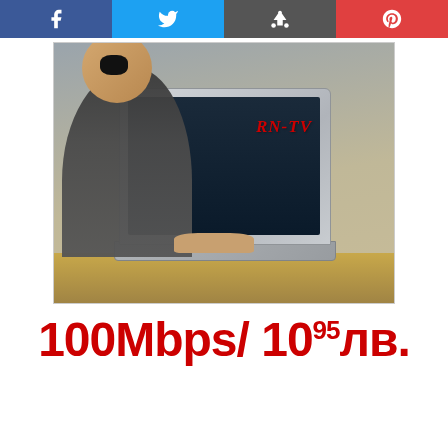[Figure (other): Social media sharing buttons bar: Facebook (blue), Twitter (light blue), Google/Share (dark grey), Pinterest (red)]
[Figure (photo): Child yelling at a laptop computer. The laptop lid shows the RN-TV logo in red italic text.]
100Mbps/ 10⁹⁵лв.